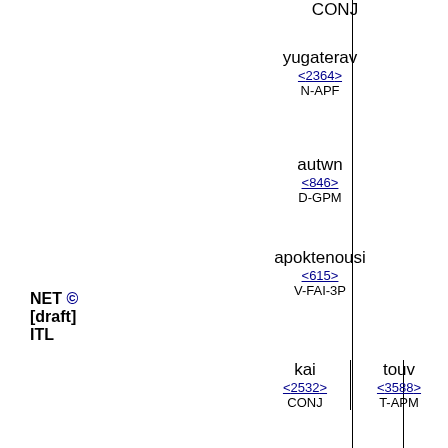CONJ
yugaterav <2364> N-APF
autwn <846> D-GPM
apoktenousi <615> V-FAI-3P
kai <2532> CONJ | touv <3588> T-APM
oikouv <3624> N-APM | autwn <846> D-GPM
emprhsousin {V-FAI-3P}
NET © [draft] ITL
That army will pelt <07275> them with stones